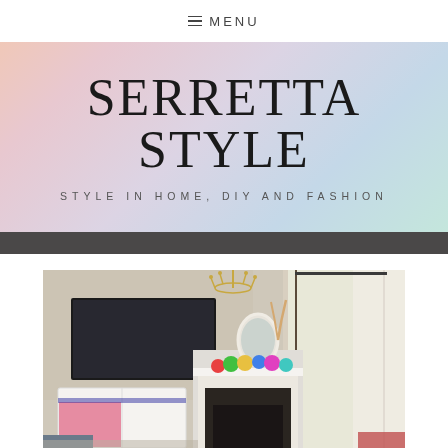≡ MENU
SERRETTA STYLE
STYLE IN HOME, DIY AND FASHION
[Figure (photo): Interior living room photo showing a room with a wall-mounted TV, white fireplace mantle decorated with colorful flowers, a gold chandelier, a white oval mirror, and sheer white curtains by a window. White sideboard with pink interior visible below the TV.]